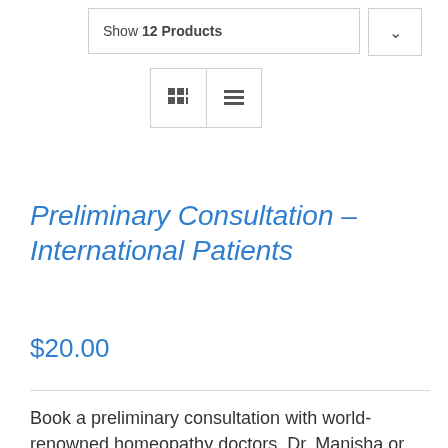Show 12 Products
[Figure (screenshot): Grid and list view toggle buttons]
Preliminary Consultation – International Patients
$20.00
Book a preliminary consultation with world-renowned homeopathy doctors, Dr. Manisha or Dr. Manish Bhatia